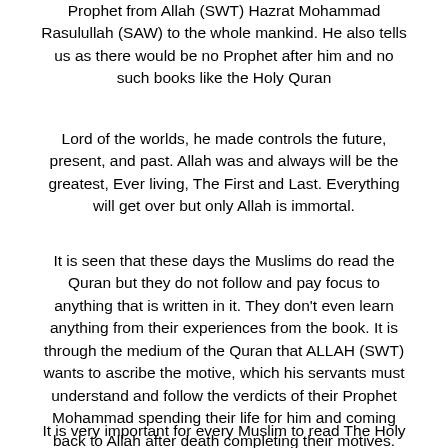Prophet from Allah (SWT) Hazrat Mohammad Rasulullah (SAW) to the whole mankind. He also tells us as there would be no Prophet after him and no such books like the Holy Quran
Lord of the worlds, he made controls the future, present, and past. Allah was and always will be the greatest, Ever living, The First and Last. Everything will get over but only Allah is immortal.
It is seen that these days the Muslims do read the Quran but they do not follow and pay focus to anything that is written in it. They don't even learn anything from their experiences from the book. It is through the medium of the Quran that ALLAH (SWT) wants to ascribe the motive, which his servants must understand and follow the verdicts of their Prophet Mohammad spending their life for him and coming back to Allah after death completing their motives.
It is very important for every Muslim to read The Holy Quran